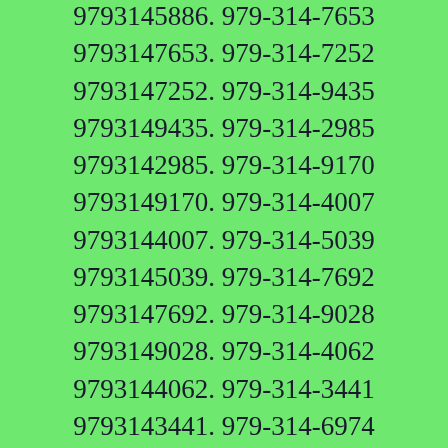9793145886. 979-314-7653 9793147653. 979-314-7252 9793147252. 979-314-9435 9793149435. 979-314-2985 9793142985. 979-314-9170 9793149170. 979-314-4007 9793144007. 979-314-5039 9793145039. 979-314-7692 9793147692. 979-314-9028 9793149028. 979-314-4062 9793144062. 979-314-3441 9793143441. 979-314-6974 9793146974. 979-314-1267 9793141267. 979-314-1036 9793141036. 979-314-0134 Caller Name Identify My Caller 9793140134. 979-314-5884 9793145884. 979-314-0600 Caller Name Identify My Caller 9793140600. 979-314-7283 9793147283. 979-314-5584 9793145584. 979-314-3280 9793143280. 979-314-2155 9793142155. 979-314-2745 9793142745. 979-314-4474 9793144474. 979-314-8955 9793148955. 979-314-9251